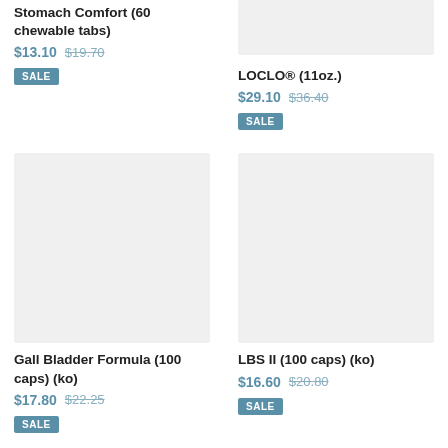Stomach Comfort (60 chewable tabs)
$13.10  $19.70
SALE
[Figure (photo): Product image placeholder for LOCLO (11oz.) — light gray rectangle]
LOCLO® (11oz.)
$29.10  $36.40
SALE
[Figure (photo): Product image placeholder for Gall Bladder Formula (100 caps) (ko) — light gray rectangle]
[Figure (photo): Product image placeholder for LBS II (100 caps) (ko) — light gray rectangle]
Gall Bladder Formula (100 caps) (ko)
$17.80  $22.25
SALE
LBS II (100 caps) (ko)
$16.60  $20.80
SALE